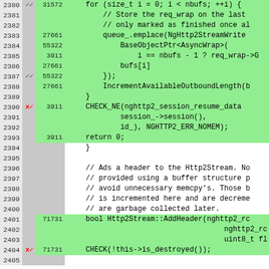[Figure (screenshot): Code coverage view showing C++ source code lines 2380-2405. Lines have line numbers, coverage markers (checkmarks, x-checkmarks), hit counts, and code content. Green highlighted lines are covered, gray/white lines are uncovered or have no hit count.]